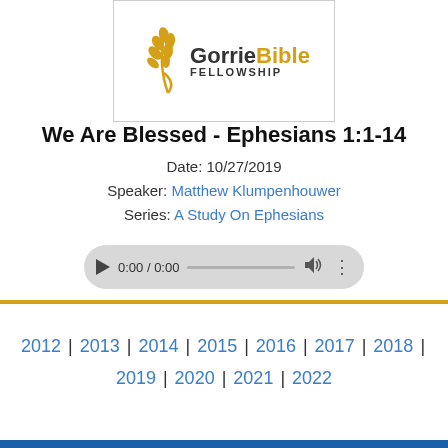[Figure (logo): Gorrie Bible Fellowship logo with wheat graphic and text]
We Are Blessed - Ephesians 1:1-14
Date: 10/27/2019
Speaker: Matthew Klumpenhouwer
Series: A Study On Ephesians
[Figure (screenshot): Audio player showing 0:00 / 0:00 with play button, progress bar, volume and options controls]
2012 | 2013 | 2014 | 2015 | 2016 | 2017 | 2018 | 2019 | 2020 | 2021 | 2022